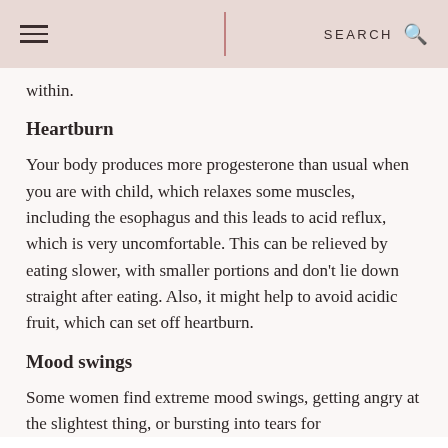SEARCH
within.
Heartburn
Your body produces more progesterone than usual when you are with child, which relaxes some muscles, including the esophagus and this leads to acid reflux, which is very uncomfortable. This can be relieved by eating slower, with smaller portions and don't lie down straight after eating. Also, it might help to avoid acidic fruit, which can set off heartburn.
Mood swings
Some women find extreme mood swings, getting angry at the slightest thing, or bursting into tears for